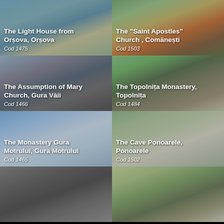[Figure (photo): The Light House from Orșova, Orșova - Cod 1475]
[Figure (photo): The "Saint Apostles" Church, Comănești - Cod 1503]
[Figure (photo): The Assumption of Mary Church, Gura Văii - Cod 1466]
[Figure (photo): The Topolnița Monastery, Topolnița - Cod 1484]
[Figure (photo): The Monastery Gura Motrului, Gura Motrului - Cod 1465]
[Figure (photo): The Cave Ponoarele, Ponoarele - Cod 1502]
[Figure (photo): Partial view - bottom left (cropped)]
[Figure (photo): Partial view - bottom right (cropped)]